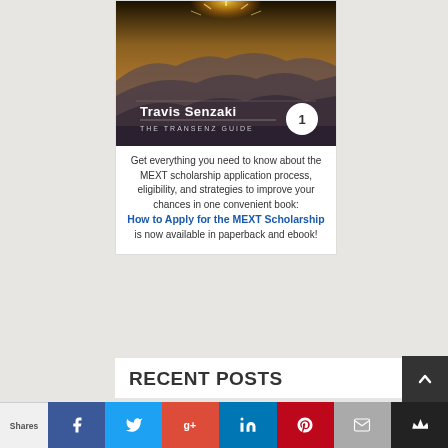[Figure (illustration): Book cover for 'The TransENZ Guide' by Travis Senzaki, showing a mountain landscape with a sun/light at top. Has a circular badge with number 1.]
Get everything you need to know about the MEXT scholarship application process, eligibility, and strategies to improve your chances in one convenient book: How to Apply for the MEXT Scholarship is now available in paperback and ebook!
RECENT POSTS
Shares | [Facebook] [Twitter] [Google+] [LinkedIn] [Pinterest] [Email] [Crown]